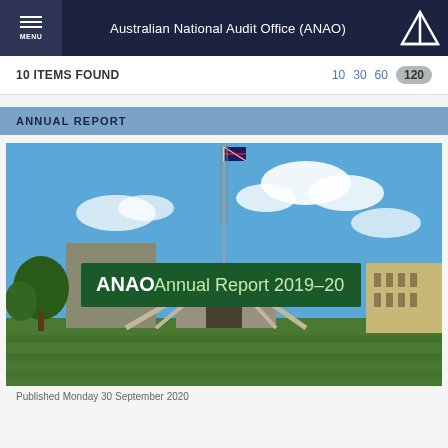Australian National Audit Office (ANAO)
10 ITEMS FOUND   10  30  60  120
ANNUAL REPORT
[Figure (photo): ANAO Annual Report 2019-20 cover featuring Australian Parliament House with flagpole, blue sky and clouds, green lawn in foreground]
Published Monday 30 September 2020